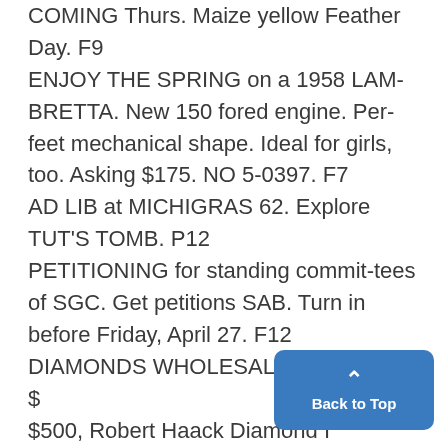COMING Thurs. Maize yellow Feather Day. F9
ENJOY THE SPRING on a 1958 LAM-BRETTA. New 150 fored engine. Perfect mechanical shape. Ideal for girls, too. Asking $175. NO 5-0397. F7
AD LIB at MICHIGRAS 62. Explore TUT'S TOMB. P12
PETITIONING for standing committees of SGC. Get petitions SAB. Turn in before Friday, April 27. F12
DIAMONDS WHOLESALE-Save $ $500, Robert Haack Diamond I... ors. First National Bldg., Suite 504